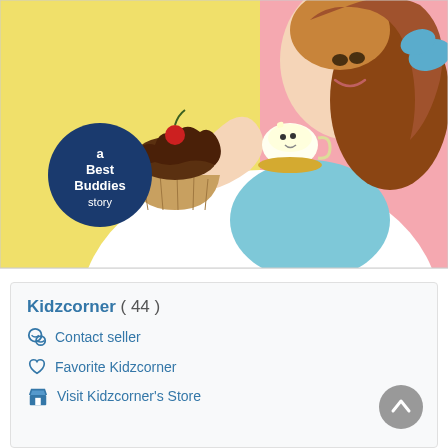[Figure (illustration): Disney Princess Belle from Beauty and the Beast holding a chocolate cupcake with a cherry on top, with Chip the teacup character beside her. Yellow background. A dark blue circle badge reads 'a Best Buddies story'.]
Kidzcorner ( 44 )
Contact seller
Favorite Kidzcorner
Visit Kidzcorner's Store